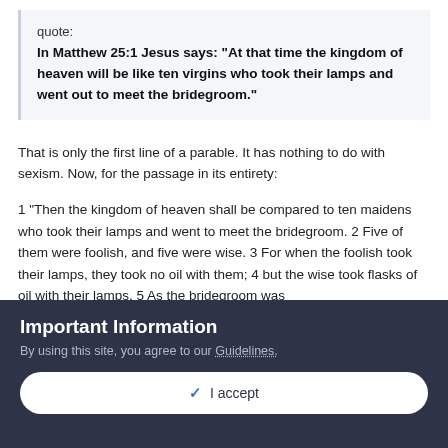quote:
In Matthew 25:1 Jesus says: "At that time the kingdom of heaven will be like ten virgins who took their lamps and went out to meet the bridegroom."
That is only the first line of a parable. It has nothing to do with sexism. Now, for the passage in its entirety:
1 "Then the kingdom of heaven shall be compared to ten maidens who took their lamps and went to meet the bridegroom. 2 Five of them were foolish, and five were wise. 3 For when the foolish took their lamps, they took no oil with them; 4 but the wise took flasks of oil with their lamps. 5 As the bridegroom was
Important Information
By using this site, you agree to our Guidelines.
✓  I accept